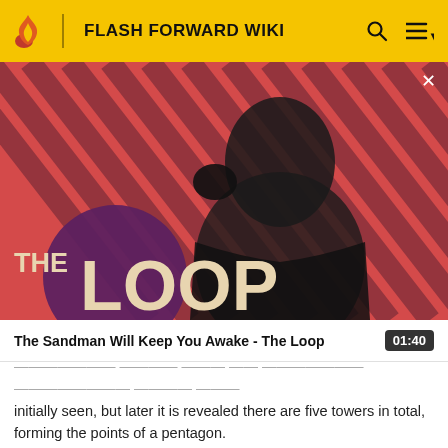FLASH FORWARD WIKI
[Figure (illustration): Hero banner for 'The Loop' featuring a dark-clothed figure with a crow on their shoulder, against a red and dark diagonal-striped background, with 'THE LOOP' text overlay in cream/beige large bold font. A purple circle is behind the text.]
The Sandman Will Keep You Awake - The Loop
initially seen, but later it is revealed there are five towers in total, forming the points of a pentagon.
In the flashback in "137 Sekunden", a large tower in the